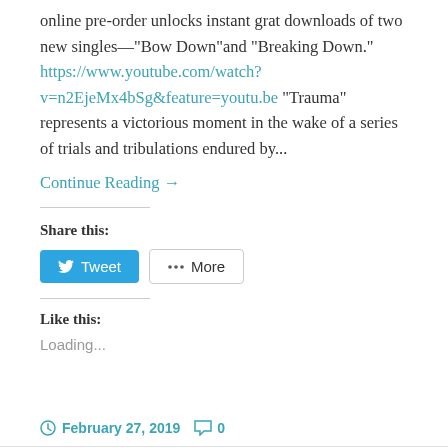online pre-order unlocks instant grat downloads of two new singles—"Bow Down"and "Breaking Down." https://www.youtube.com/watch?v=n2EjeMx4bSg&feature=youtu.be "Trauma" represents a victorious moment in the wake of a series of trials and tribulations endured by...
Continue Reading →
Share this:
Like this:
Loading...
February 27, 2019  0